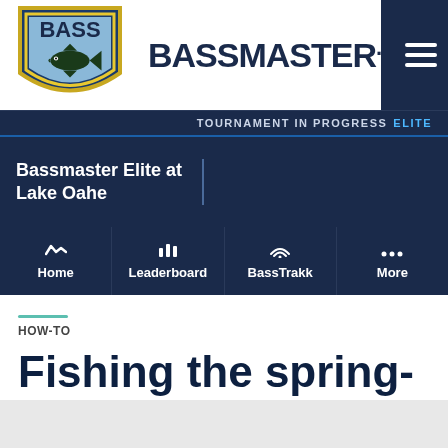[Figure (logo): BASS shield logo with bass fish jumping, yellow/blue/green colors]
BASSMASTER.
TOURNAMENT IN PROGRESS ELITE
Bassmaster Elite at Lake Oahe
Home Leaderboard BassTrakk More
HOW-TO
Fishing the spring-to-summer transition